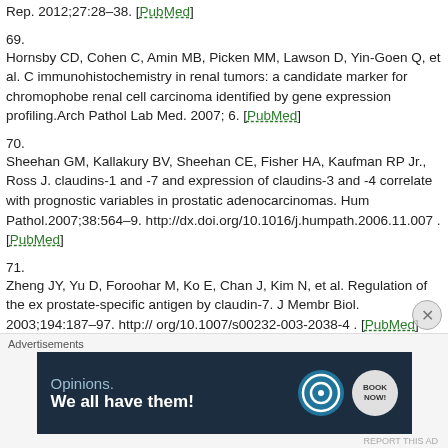Rep. 2012;27:28–38. [PubMed]
69.
Hornsby CD, Cohen C, Amin MB, Picken MM, Lawson D, Yin-Goen Q, et al. C immunohistochemistry in renal tumors: a candidate marker for chromophobe renal cell carcinoma identified by gene expression profiling.Arch Pathol Lab Med. 2007; 6. [PubMed]
70.
Sheehan GM, Kallakury BV, Sheehan CE, Fisher HA, Kaufman RP Jr., Ross J. claudins-1 and -7 and expression of claudins-3 and -4 correlate with prognostic variables in prostatic adenocarcinomas. Hum Pathol.2007;38:564–9. http://dx.doi.org/10.1016/j.humpath.2006.11.007 . [PubMed]
71.
Zheng JY, Yu D, Foroohar M, Ko E, Chan J, Kim N, et al. Regulation of the expression of prostate-specific antigen by claudin-7. J Membr Biol. 2003;194:187–97. http://dx.doi.org/10.1007/s00232-003-2038-4 . [PubMed]
72.
[Figure (screenshot): Advertisement banner: 'Opinions. We all have them!' with WordPress and WordNow logos on dark navy background]